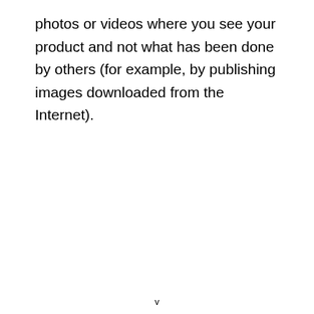photos or videos where you see your product and not what has been done by others (for example, by publishing images downloaded from the Internet).
v